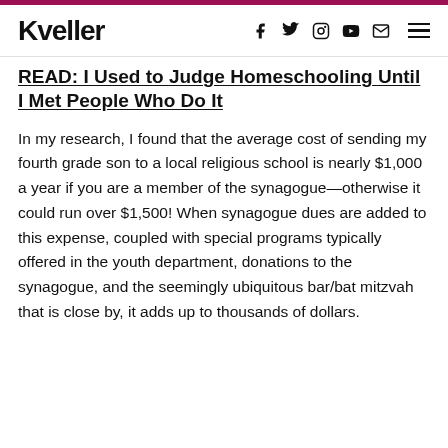Kveller
READ: I Used to Judge Homeschooling Until I Met People Who Do It
In my research, I found that the average cost of sending my fourth grade son to a local religious school is nearly $1,000 a year if you are a member of the synagogue—otherwise it could run over $1,500! When synagogue dues are added to this expense, coupled with special programs typically offered in the youth department, donations to the synagogue, and the seemingly ubiquitous bar/bat mitzvah that is close by, it adds up to thousands of dollars.